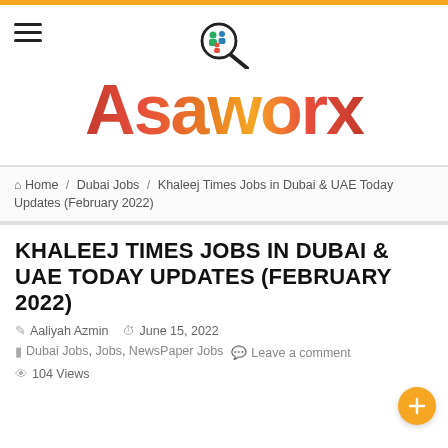Asaworx
Home / Dubai Jobs / Khaleej Times Jobs in Dubai & UAE Today Updates (February 2022)
KHALEEJ TIMES JOBS IN DUBAI & UAE TODAY UPDATES (FEBRUARY 2022)
Aaliyah Azmin   June 15, 2022   Dubai Jobs, Jobs, NewsPaper Jobs   Leave a comment   104 Views